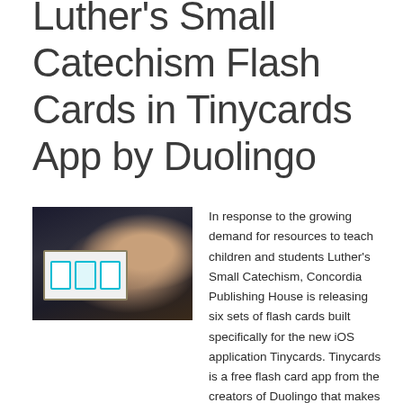House Releases Luther's Small Catechism Flash Cards in Tinycards App by Duolingo
[Figure (photo): A child or student using a tablet device showing flash card app with colorful card icons on screen, photographed in a dark indoor setting]
In response to the growing demand for resources to teach children and students Luther's Small Catechism, Concordia Publishing House is releasing six sets of flash cards built specifically for the new iOS application Tinycards. Tinycards is a free flash card app from the creators of Duolingo that makes memorization fun.
The application is currently available only on iOS, but Duolingo has